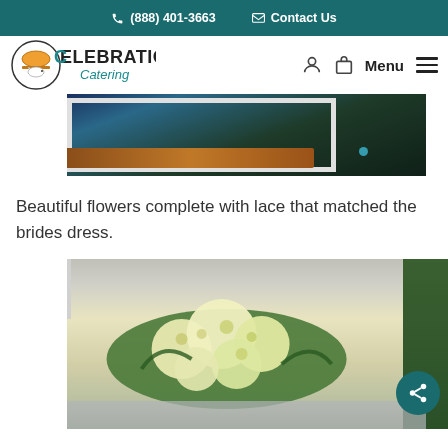(888) 401-3663  Contact Us
[Figure (logo): Celebrations Catering logo with chef cloche and decorative text]
[Figure (photo): Top portion of a wedding table setup with framed photo, wood table surface, and green grass/lawn background]
Beautiful flowers complete with lace that matched the brides dress.
[Figure (photo): Yellow and white flower bouquet arrangement resting on a table, with green leaves]